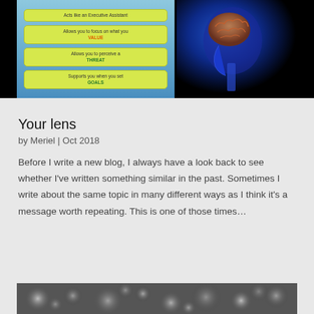[Figure (screenshot): Screenshot of a presentation slide showing a blue background with a human brain X-ray profile image on the right, and yellow-green buttons on the left listing: 'Acts like an Executive Assistant', 'Allows you to focus on what you VALUE', 'Allows you to perceive a THREAT', 'Supports you when you set GOALS']
Your lens
by Meriel | Oct 2018
Before I write a new blog, I always have a look back to see whether I've written something similar in the past. Sometimes I write about the same topic in many different ways as I think it's a message worth repeating. This is one of those times…
[Figure (photo): Black and white bokeh/blurred lights photograph at the bottom of the page]